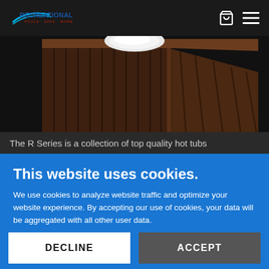Recreational Pools · Spas · More
[Figure (photo): Close-up of a brown wood-paneled hot tub corner viewed from above on a dark background, with a white headrest/pillow visible at the top]
The R Series is a collection of top quality hot tubs
This website uses cookies.
We use cookies to analyze website traffic and optimize your website experience. By accepting our use of cookies, your data will be aggregated with all other user data.
DECLINE
ACCEPT